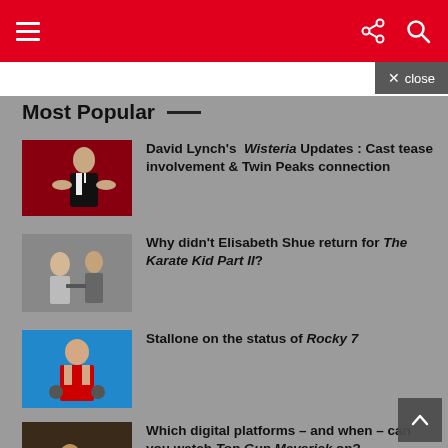Navigation header with menu, share, and search icons
Most Popular
David Lynch's Wisteria Updates : Cast tease involvement & Twin Peaks connection
Why didn't Elisabeth Shue return for The Karate Kid Part II?
Stallone on the status of Rocky 7
Which digital platforms – and when – can you watch Top Gun Maverick on?